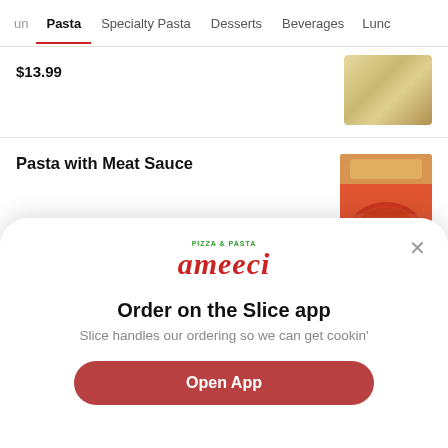un | Pasta | Specialty Pasta | Desserts | Beverages | Lunc
$13.99
Pasta with Meat Sauce
$12.99
[Figure (screenshot): Modal overlay popup with Ameeci Pizza & Pasta logo, 'Order on the Slice app' heading, 'Slice handles our ordering so we can get cookin'' subtitle, and an 'Open App' red button]
Order on the Slice app
Slice handles our ordering so we can get cookin'
Open App